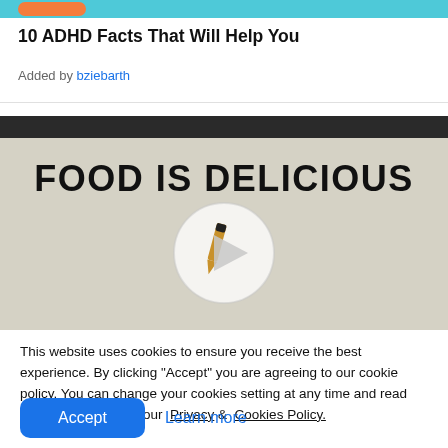10 ADHD Facts That Will Help You
Added by bziebarth
[Figure (screenshot): Video thumbnail showing text 'FOOD IS DELICIOUS' with a play button overlay on a light gray background, inside a dark-bordered video player frame.]
This website uses cookies to ensure you receive the best experience. By clicking "Accept" you are agreeing to our cookie policy. You can change your cookies setting at any time and read how we use them in our Privacy & Cookies Policy.
Accept   Learn more